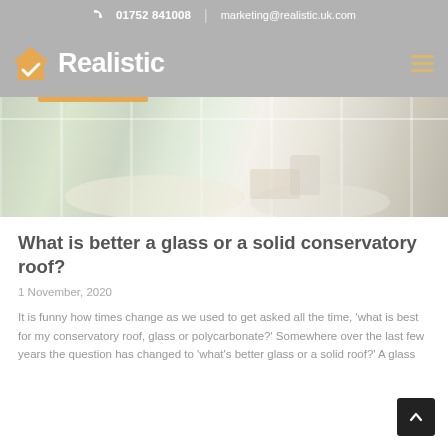01752 841008  |  marketing@realistic.uk.com
[Figure (logo): Realistic logo with house icon and white text]
[Figure (photo): Interior photo of a bright conservatory with white sofas, chairs, and large glass windows overlooking a garden]
What is better a glass or a solid conservatory roof?
1 November, 2020
It is funny how times change as we used to get asked all the time, 'what is best for my conservatory roof, glass or polycarbonate?' Somewhere over the last few years the question has changed to 'what's better glass or a solid roof?' A glass